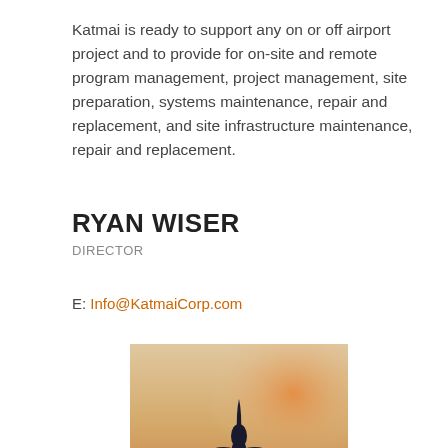Katmai is ready to support any on or off airport project and to provide for on-site and remote program management, project management, site preparation, systems maintenance, repair and replacement, and site infrastructure maintenance, repair and replacement.
RYAN WISER
DIRECTOR
E: Info@KatmaiCorp.com
[Figure (photo): Photograph of an airplane viewed from the front, flying against an orange/golden sunset sky.]